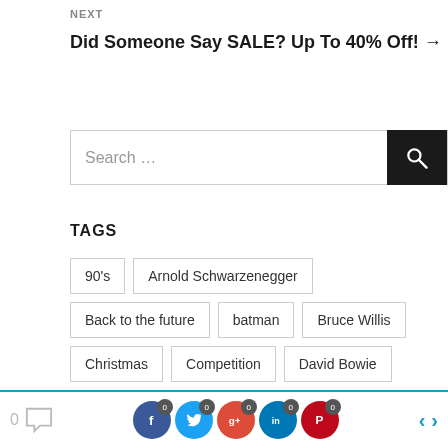NEXT
Did Someone Say SALE? Up To 40% Off! →
[Figure (other): Search input box with magnifying glass button]
TAGS
90's
Arnold Schwarzenegger
Back to the future
batman
Bruce Willis
Christmas
Competition
David Bowie
discount
Disney
Friends
Ghostbusters
0 [comment icon] [Facebook 0] [Twitter 0] [Google+ 0] [LinkedIn 0] [Pinterest 0] < >